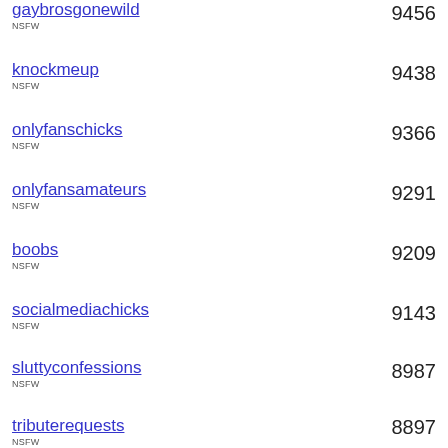gaybrosgonewild NSFW 9456
knockmeup NSFW 9438
onlyfanschicks NSFW 9366
onlyfansamateurs NSFW 9291
boobs NSFW 9209
socialmediachicks NSFW 9143
sluttyconfessions NSFW 8987
tributerequests NSFW 8897
cats 8703
advice 8675
market76 8544
chubby NSFW 8427
196 8382